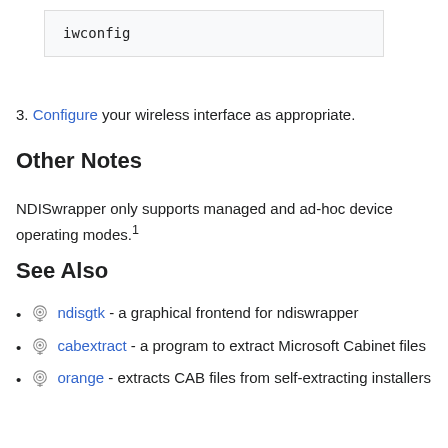iwconfig
3. Configure your wireless interface as appropriate.
Other Notes
NDISwrapper only supports managed and ad-hoc device operating modes.1
See Also
ndisgtk - a graphical frontend for ndiswrapper
cabextract - a program to extract Microsoft Cabinet files
orange - extracts CAB files from self-extracting installers